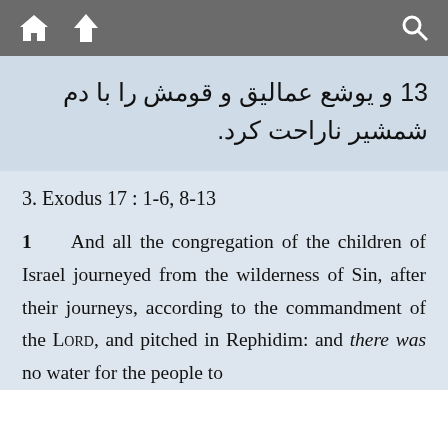[toolbar with home, up, and search icons]
13 و یوشع عمالیق و قومش را با دم شمشیر ناراحت کرد.
3. Exodus 17 : 1-6, 8-13
1   And all the congregation of the children of Israel journeyed from the wilderness of Sin, after their journeys, according to the commandment of the LORD, and pitched in Rephidim: and there was no water for the people to